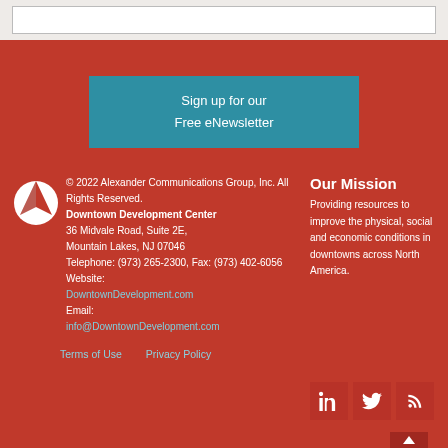[Figure (screenshot): Top gray bar with white content box]
Sign up for our Free eNewsletter
[Figure (logo): Alexander Communications Group logo — white diamond/flame shape on red background]
© 2022 Alexander Communications Group, Inc. All Rights Reserved. Downtown Development Center 36 Midvale Road, Suite 2E, Mountain Lakes, NJ 07046 Telephone: (973) 265-2300, Fax: (973) 402-6056 Website: DowntownDevelopment.com Email: info@DownntownDevelopment.com
Our Mission
Providing resources to improve the physical, social and economic conditions in downtowns across North America.
Terms of Use   Privacy Policy
[Figure (infographic): Social media icons: LinkedIn, Twitter, RSS feed]